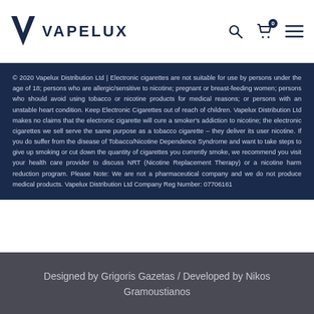VAPELUX
© 2020 Vapelux Distribution Ltd | Electronic cigarettes are not suitable for use by persons under the age of 18; persons who are allergic/sensitive to nicotine; pregnant or breast-feeding women; persons who should avoid using tobacco or nicotine products for medical reasons; or persons with an unstable heart condition. Keep Electronic Cigarettes out of reach of children. Vapelux Distribution Ltd makes no claims that the electronic cigarette will cure a smoker's addiction to nicotine; the electronic cigarettes we sell serve the same purpose as a tobacco cigarette – they deliver its user nicotine. If you do suffer from the disease of Tobacco/Nicotine Dependence Syndrome and want to take steps to give up smoking or cut down the quantity of cigarettes you currently smoke, we recommend you visit your health care provider to discuss NRT (Nicotine Replacement Therapy) or a nicotine harm reduction program. Please Note: We are not a pharmaceutical company and we do not produce medical products. Vapelux Distribution Ltd Company Reg Number: 07706161
Designed by Grigoris Gazetas / Developed by Nikos Gramoustianos